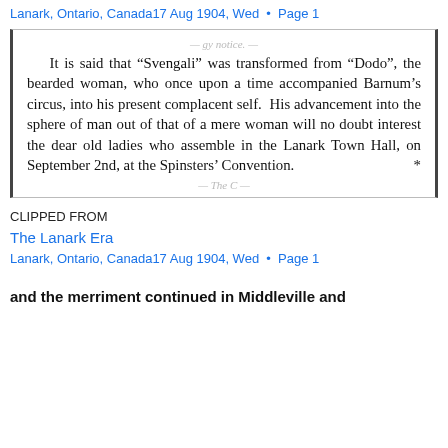Lanark, Ontario, Canada17 Aug 1904, Wed • Page 1
[Figure (other): Newspaper clipping from The Lanark Era showing article text about 'Svengali' and the Spinsters' Convention]
CLIPPED FROM
The Lanark Era
Lanark, Ontario, Canada17 Aug 1904, Wed • Page 1
and the merriment continued in Middleville and